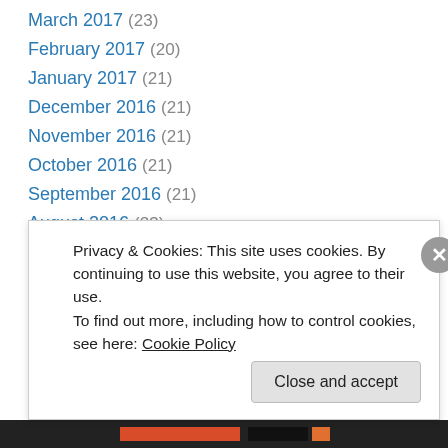March 2017 (23)
February 2017 (20)
January 2017 (21)
December 2016 (21)
November 2016 (21)
October 2016 (21)
September 2016 (21)
August 2016 (23)
July 2016 (18)
June 2016 (19)
May 2016 (22)
April 2016 (21)
March 2016 (23)
Privacy & Cookies: This site uses cookies. By continuing to use this website, you agree to their use. To find out more, including how to control cookies, see here: Cookie Policy
Close and accept